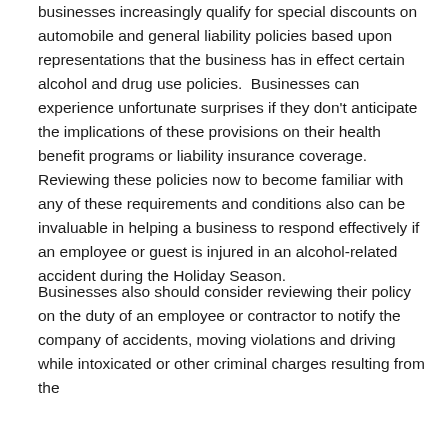businesses increasingly qualify for special discounts on automobile and general liability policies based upon representations that the business has in effect certain alcohol and drug use policies.  Businesses can experience unfortunate surprises if they don't anticipate the implications of these provisions on their health benefit programs or liability insurance coverage. Reviewing these policies now to become familiar with any of these requirements and conditions also can be invaluable in helping a business to respond effectively if an employee or guest is injured in an alcohol-related accident during the Holiday Season.
Businesses also should consider reviewing their policy on the duty of an employee or contractor to notify the company of accidents, moving violations and driving while intoxicated or other criminal charges resulting from the